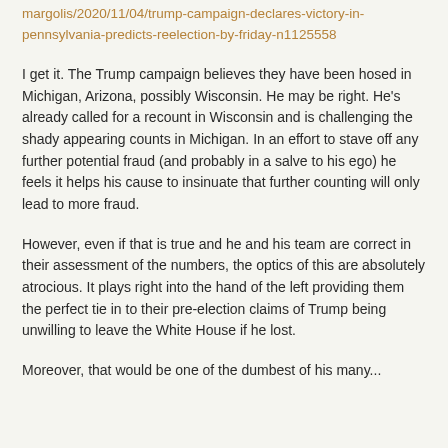https://pjmedia.com/election/matt-margolis/2020/11/04/trump-campaign-declares-victory-in-pennsylvania-predicts-reelection-by-friday-n1125558
I get it. The Trump campaign believes they have been hosed in Michigan, Arizona, possibly Wisconsin. He may be right. He's already called for a recount in Wisconsin and is challenging the shady appearing counts in Michigan. In an effort to stave off any further potential fraud (and probably in a salve to his ego) he feels it helps his cause to insinuate that further counting will only lead to more fraud.
However, even if that is true and he and his team are correct in their assessment of the numbers, the optics of this are absolutely atrocious. It plays right into the hand of the left providing them the perfect tie in to their pre-election claims of Trump being unwilling to leave the White House if he lost.
Moreover, that would be one of the dumbest of his many...